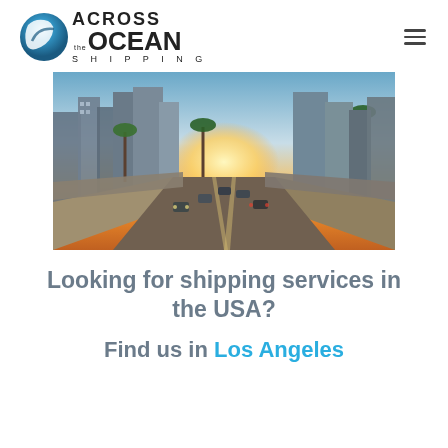Across the Ocean Shipping — logo and navigation
[Figure (photo): Aerial/ground-level photo of a Los Angeles freeway with multiple lanes of traffic, palm trees, and downtown LA skyscrapers in the background with a golden sunset.]
Looking for shipping services in the USA?
Find us in Los Angeles